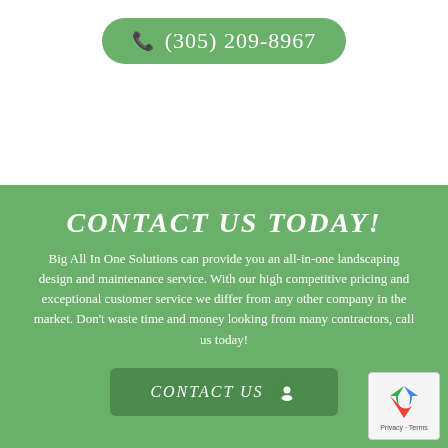(305) 209-8967
CONTACT US TODAY!
Big All In One Solutions can provide you an all-in-one landscaping design and maintenance service. With our high competitive pricing and exceptional customer service we differ from any other company in the market. Don’t waste time and money looking from many contractors, call us today!
CONTACT US
[Figure (logo): reCAPTCHA logo with Privacy and Terms text]